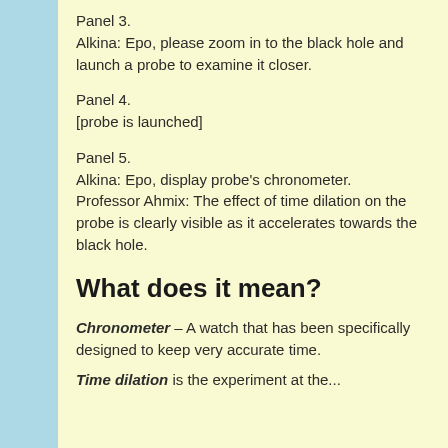Panel 3.
Alkina: Epo, please zoom in to the black hole and launch a probe to examine it closer.
Panel 4.
[probe is launched]
Panel 5.
Alkina: Epo, display probe’s chronometer.
Professor Ahmix: The effect of time dilation on the probe is clearly visible as it accelerates towards the black hole.
What does it mean?
Chronometer – A watch that has been specifically designed to keep very accurate time.
Time dilation is the experiment at the...